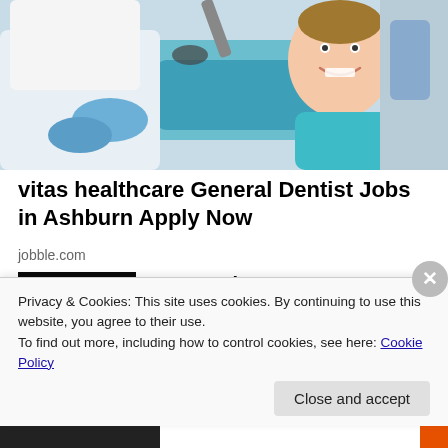[Figure (photo): Dentist in white coat and blue gloves working with a smiling child patient in a dental chair]
vitas healthcare General Dentist Jobs in Ashburn Apply Now
jobble.com
[Figure (photo): Camp Lejeune Toxic Water Lawsuit advertisement thumbnail with dark background, eagle emblem, yellow text CAMP LEJEUNE and white text TOXIC WATER LAWSUIT, red text INSTANT CASE REVIEW]
Camp Lejeune Water Contamination Claims
TruLaw
Privacy & Cookies: This site uses cookies. By continuing to use this website, you agree to their use.
To find out more, including how to control cookies, see here: Cookie Policy
Close and accept